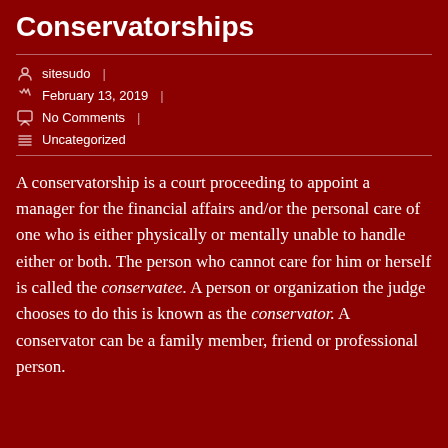Conservatorships
sitesudo | February 13, 2019 | No Comments | Uncategorized
A conservatorship is a court proceeding to appoint a manager for the financial affairs and/or the personal care of one who is either physically or mentally unable to handle either or both. The person who cannot care for him or herself is called the conservatee. A person or organization the judge chooses to do this is known as the conservator. A conservator can be a family member, friend or professional person.